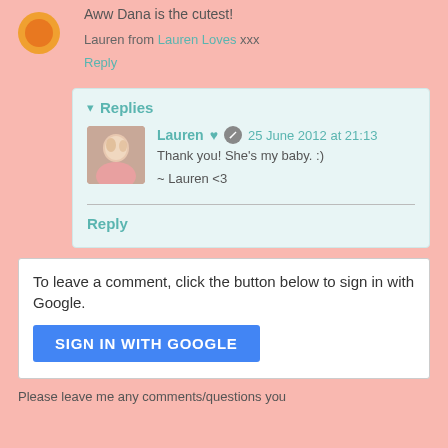[Figure (photo): Orange circle avatar/logo at top left]
Aww Dana is the cutest!
Lauren from Lauren Loves xxx
Reply
▾ Replies
[Figure (photo): Small profile photo of Lauren, a blonde woman]
Lauren ♥ 🚫 25 June 2012 at 21:13
Thank you! She's my baby. :)
~ Lauren <3
Reply
To leave a comment, click the button below to sign in with Google.
SIGN IN WITH GOOGLE
Please leave me any comments/questions you